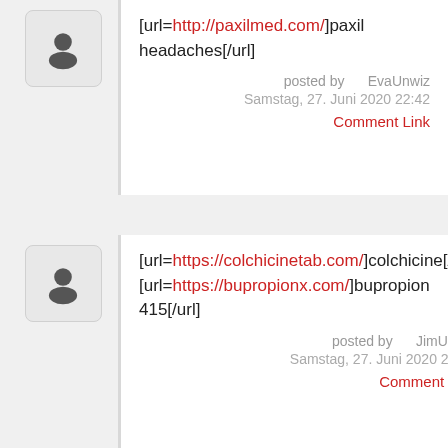[url=http://paxilmed.com/]paxil headaches[/url]
posted by   EvaUnwiz
Samstag, 27. Juni 2020 22:42
Comment Link
[url=https://colchicinetab.com/]colchicine[/url] [url=https://bupropionx.com/]bupropion 415[/url]
posted by   JimUnwiz
Samstag, 27. Juni 2020 22:42
Comment Link